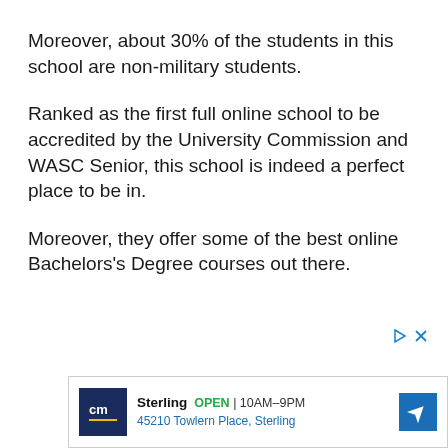Moreover, about 30% of the students in this school are non-military students.
Ranked as the first full online school to be accredited by the University Commission and WASC Senior, this school is indeed a perfect place to be in.
Moreover, they offer some of the best online Bachelors's Degree courses out there.
[Figure (other): Advertisement banner for Sterling store showing logo, open hours 10AM-9PM, address 45210 Towlern Place Sterling, with navigation icon]
Ad controls and advertisement banner at bottom of page